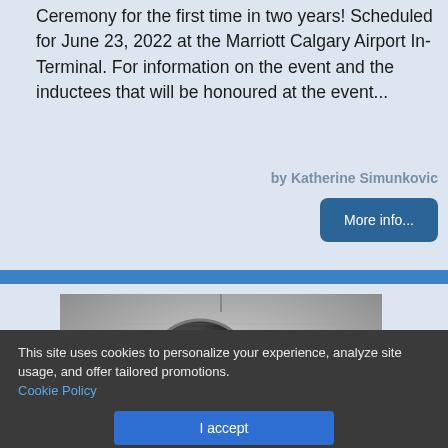Ceremony for the first time in two years! Scheduled for June 23, 2022 at the Marriott Calgary Airport In-Terminal. For information on the event and the inductees that will be honoured at the event...
by Katherine Simunkovic
More info...
[Figure (photo): Grayscale historical photograph showing a person with a circular/round object, with numbers visible (19352) in the background]
This site uses cookies to personalize your experience, analyze site usage, and offer tailored promotions. Cookie Policy
I accept